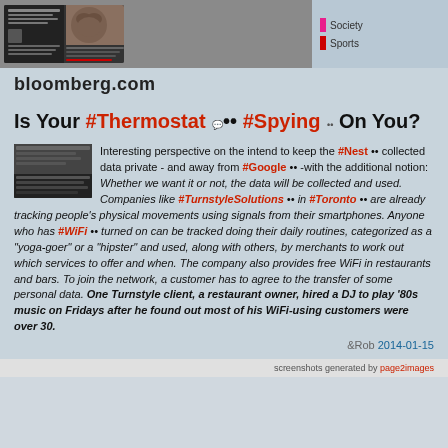[Figure (screenshot): Top portion of bloomberg.com webpage screenshot showing article thumbnails and sidebar with Society/Sports category links]
bloomberg.com
Is Your #Thermostat #Spying On You?
Interesting perspective on the intend to keep the #Nest collected data private - and away from #Google -with the additional notion: Whether we want it or not, the data will be collected and used. Companies like #TurnstyleSolutions in #Toronto are already tracking people's physical movements using signals from their smartphones. Anyone who has #WiFi turned on can be tracked doing their daily routines, categorized as a "yoga-goer" or a "hipster" and used, along with others, by merchants to work out which services to offer and when. The company also provides free WiFi in restaurants and bars. To join the network, a customer has to agree to the transfer of some personal data. One Turnstyle client, a restaurant owner, hired a DJ to play '80s music on Fridays after he found out most of his WiFi-using customers were over 30.
&Rob 2014-01-15
screenshots generated by page2images